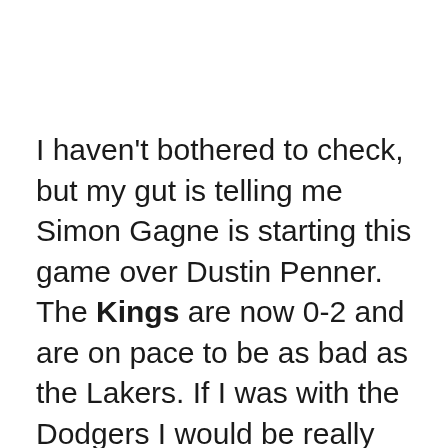I haven't bothered to check, but my gut is telling me Simon Gagne is starting this game over Dustin Penner. The Kings are now 0-2 and are on pace to be as bad as the Lakers. If I was with the Dodgers I would be really worried given the high expectations and so far falling flat on the face behavior of their Los Angeles brethren. Unless of course the Kings (and Lakers) catch fire at the last minute and win it all - kind of like they did last year and like how the Galaxy did. Meanwhile, the stupid Giants won the World Series and 49ers are in the Super Bowl while the fucking Chargers refuse to abandon San Diego and just now